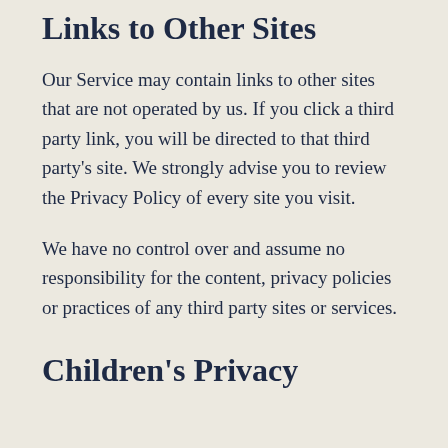Links to Other Sites
Our Service may contain links to other sites that are not operated by us. If you click a third party link, you will be directed to that third party's site. We strongly advise you to review the Privacy Policy of every site you visit.
We have no control over and assume no responsibility for the content, privacy policies or practices of any third party sites or services.
Children's Privacy